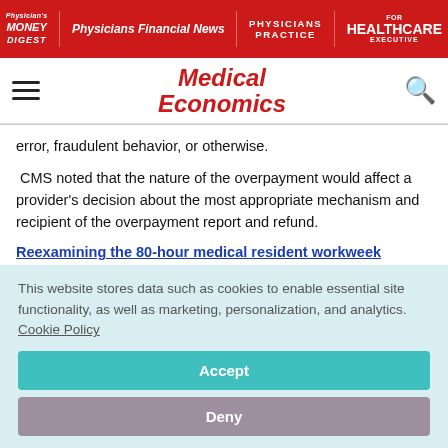Physician's Money Digest | Physicians Financial News | Physicians Practice | Healthcare Executive
Medical Economics
error, fraudulent behavior, or otherwise.
CMS noted that the nature of the overpayment would affect a provider's decision about the most appropriate mechanism and recipient of the overpayment report and refund.
Reexamining the 80-hour medical resident workweek
This website stores data such as cookies to enable essential site functionality, as well as marketing, personalization, and analytics. Cookie Policy
Accept
Deny